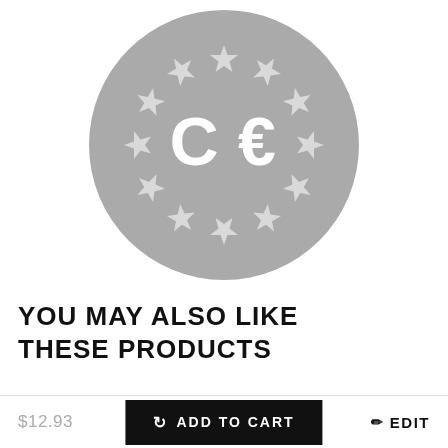[Figure (logo): CE marking logo — circular grey badge with 12 white stars arranged in a ring and white CE letters in the center]
YOU MAY ALSO LIKE THESE PRODUCTS
$12.93   ADD TO CART   EDIT